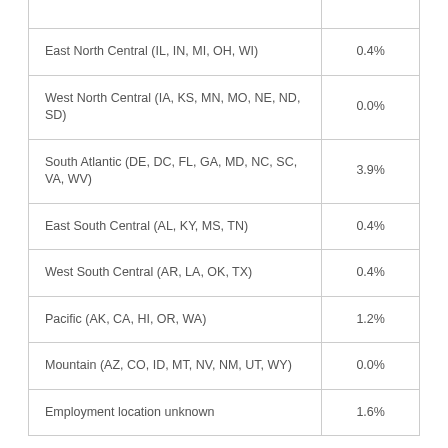| Region | Percentage |
| --- | --- |
| East North Central (IL, IN, MI, OH, WI) | 0.4% |
| West North Central (IA, KS, MN, MO, NE, ND, SD) | 0.0% |
| South Atlantic (DE, DC, FL, GA, MD, NC, SC, VA, WV) | 3.9% |
| East South Central (AL, KY, MS, TN) | 0.4% |
| West South Central (AR, LA, OK, TX) | 0.4% |
| Pacific (AK, CA, HI, OR, WA) | 1.2% |
| Mountain (AZ, CO, ID, MT, NV, NM, UT, WY) | 0.0% |
| Employment location unknown | 1.6% |